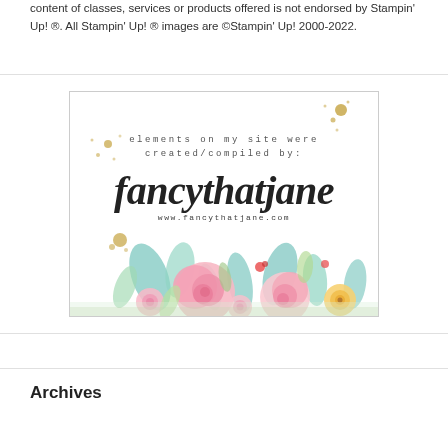content of classes, services or products offered is not endorsed by Stampin' Up! ®.  All Stampin' Up! ® images are ©Stampin' Up! 2000-2022.
[Figure (illustration): A decorative branded image with the text 'elements on my site were created/compiled by:' in small monospaced type, followed by 'fancythatjane' in large cursive script, and 'www.fancythatjane.com' below, all on a white background with watercolor floral decoration (pink roses, teal leaves, yellow flowers) along the bottom and gold glitter accents.]
Archives